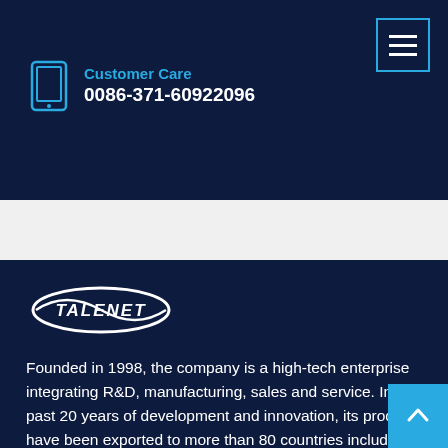Customer Care
0086-371-60922096
[Figure (logo): Talenet company logo — white elliptical swoosh design with TALENET text in white bold italic letters]
Founded in 1998, the company is a high-tech enterprise integrating R&D, manufacturing, sales and service. In the past 20 years of development and innovation, its products have been exported to more than 80 countries including Russia and Mongolia, and long-term cooperative relations have been